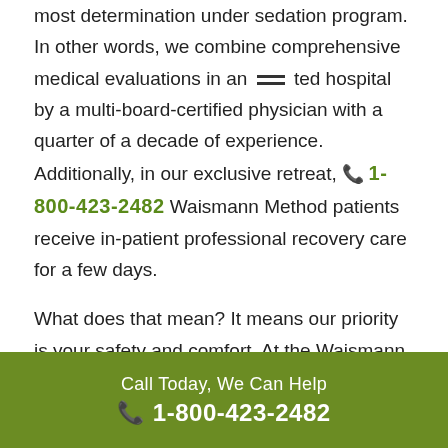most determination under sedation program. In other words, we combine comprehensive medical evaluations in an accredited hospital by a multi-board-certified physician with a quarter of a decade of experience. Additionally, in our exclusive retreat, Waismann Method patients receive in-patient professional recovery care for a few days.
What does that mean? It means our priority is your safety and comfort. At the Waismann Detox, we do not cut corners by admitting you on the day of the procedure because we are unaware of your current health conditions or any substances in your system. Most drugs bought on the streets are adulterated, and even over-the-counter
Call Today, We Can Help
☎ 1-800-423-2482